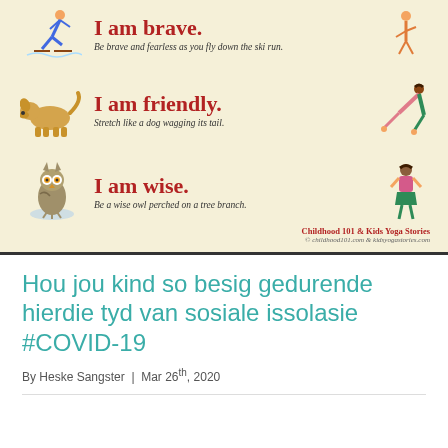[Figure (illustration): Educational poster with cream background showing three yoga affirmation cards for children. Top: skier illustration with 'I am brave. Be brave and fearless as you fly down the ski run.' Middle: stretching dog (downward dog) and child in yoga pose with 'I am friendly. Stretch like a dog wagging its tail.' Bottom: owl on branch and child in yoga pose with 'I am wise. Be a wise owl perched on a tree branch.' Branded 'Childhood 101 & Kids Yoga Stories' in bottom right.]
Hou jou kind so besig gedurende hierdie tyd van sosiale issolasie #COVID-19
By Heske Sangster | Mar 26th, 2020